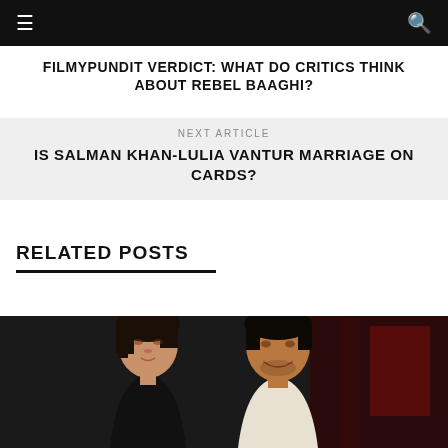☰  Q
FILMYPUNDIT VERDICT: WHAT DO CRITICS THINK ABOUT REBEL BAAGHI?
NEXT ARTICLE
IS SALMAN KHAN-LULIA VANTUR MARRIAGE ON CARDS?
RELATED POSTS
[Figure (photo): Two people smiling at camera — a woman with short dark hair wearing black, and a man with short dark hair wearing a white top, at what appears to be an indoor event with red background elements.]